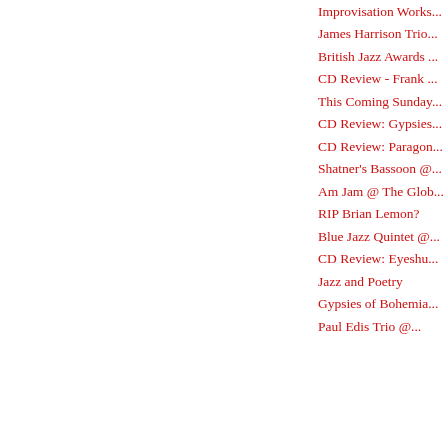Improvisation Works...
James Harrison Trio...
British Jazz Awards...
CD Review - Frank ...
This Coming Sunday...
CD Review: Gypsies...
CD Review: Paragon...
Shatner's Bassoon @...
Am Jam @ The Glob...
RIP Brian Lemon?
Blue Jazz Quintet @...
CD Review: Eyeshu...
Jazz and Poetry
Gypsies of Bohemia...
Paul Edis Trio @...